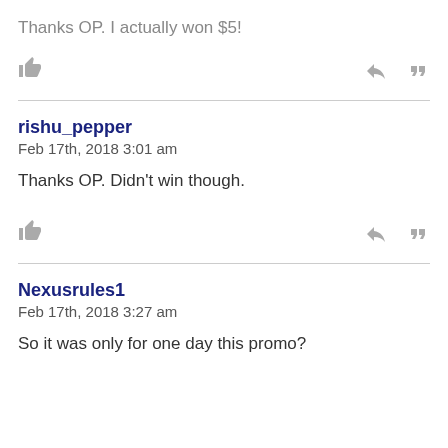Thanks OP. I actually won $5!
[like/reply/quote icons]
rishu_pepper
Feb 17th, 2018 3:01 am

Thanks OP. Didn't win though.
[like/reply/quote icons]
Nexusrules1
Feb 17th, 2018 3:27 am

So it was only for one day this promo?